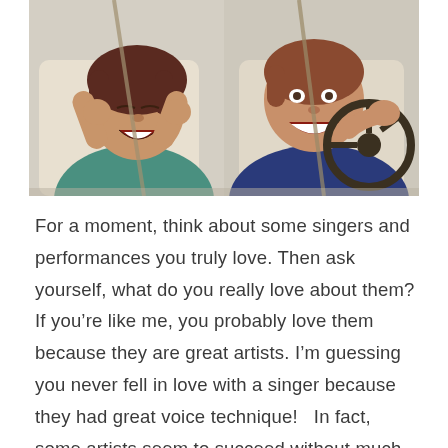[Figure (photo): Two women in a car laughing. The passenger on the left is covering her ears with her fists and grimacing/laughing, wearing a teal top. The driver on the right is laughing with her mouth open, holding the steering wheel, wearing a dark blue top.]
For a moment, think about some singers and performances you truly love. Then ask yourself, what do you really love about them? If you're like me, you probably love them because they are great artists. I'm guessing you never fell in love with a singer because they had great voice technique!   In fact, some artists seem to succeed without much technique at all. So is technique really